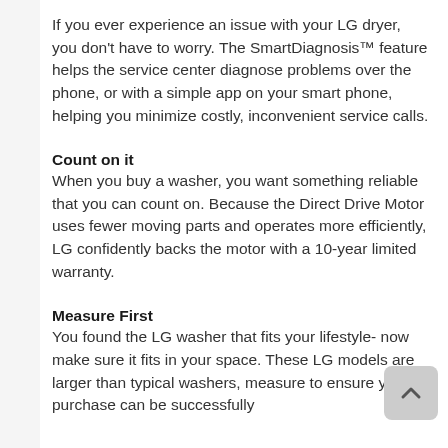If you ever experience an issue with your LG dryer, you don't have to worry. The SmartDiagnosis™ feature helps the service center diagnose problems over the phone, or with a simple app on your smart phone, helping you minimize costly, inconvenient service calls.
Count on it
When you buy a washer, you want something reliable that you can count on. Because the Direct Drive Motor uses fewer moving parts and operates more efficiently, LG confidently backs the motor with a 10-year limited warranty.
Measure First
You found the LG washer that fits your lifestyle- now make sure it fits in your space. These LG models are larger than typical washers, measure to ensure your purchase can be successfully delivered and installed.